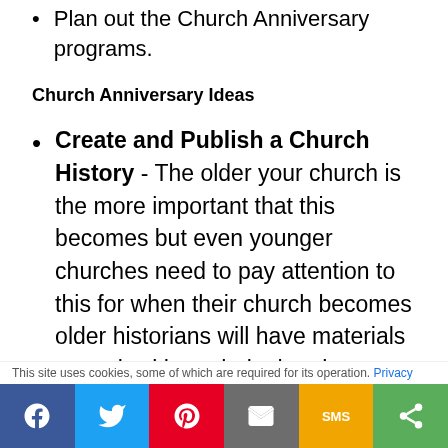Plan out the Church Anniversary programs.
Church Anniversary Ideas
Create and Publish a Church History - The older your church is the more important that this becomes but even younger churches need to pay attention to this for when their church becomes older historians will have materials to work with on their church
This site uses cookies, some of which are required for its operation. Privacy